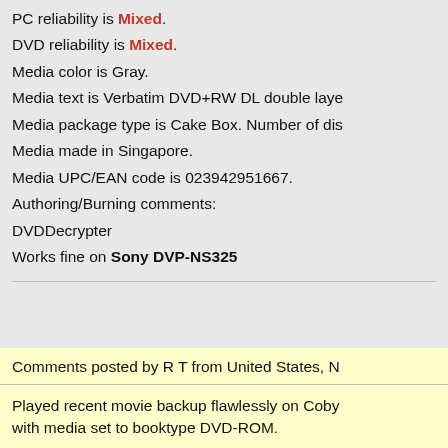PC reliability is Mixed.
DVD reliability is Mixed.
Media color is Gray.
Media text is Verbatim DVD+RW DL double laye…
Media package type is Cake Box. Number of dis…
Media made in Singapore.
Media UPC/EAN code is 023942951667.
Authoring/Burning comments:
DVDDecrypter
Works fine on Sony DVP-NS325
Comments posted by R T from United States, N…
Played recent movie backup flawlessly on Coby with media set to booktype DVD-ROM.
Additional information: